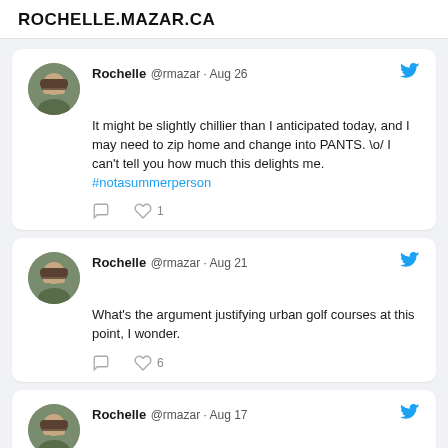ROCHELLE.MAZAR.CA
Rochelle @rmazar · Aug 26
It might be slightly chillier than I anticipated today, and I may need to zip home and change into PANTS. \o/ I can't tell you how much this delights me. #notasummerperson
Rochelle @rmazar · Aug 21
What's the argument justifying urban golf courses at this point, I wonder.
Rochelle @rmazar · Aug 17
This week we learned who is and who is